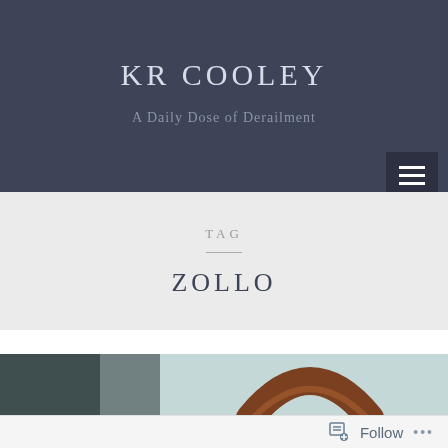KR COOLEY
A Daily Dose of Derailment
TAG
ZOLLO
[Figure (photo): Close-up photo of a brown leather bag handle against a light teal/mint blurred background]
Follow